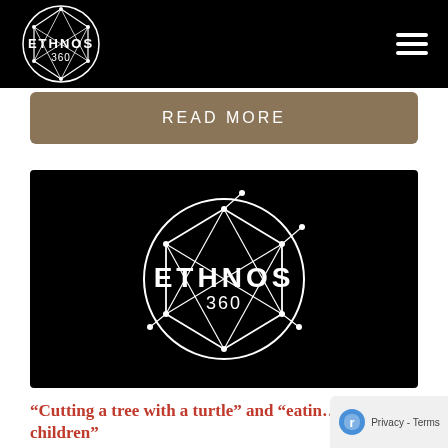ETHNOS 360
[Figure (logo): READ MORE button bar in tan/brown color]
[Figure (logo): Ethnos360 logo on black background - white geometric globe with ETHNOS 360 text]
“Cutting a tree with a turtle” and “eatin… children”